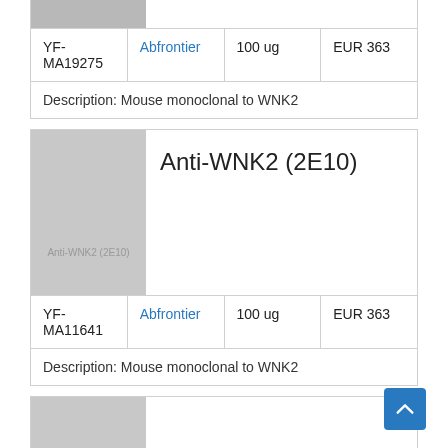| ID | Supplier | Size | Price |
| --- | --- | --- | --- |
| YF-MA19275 | Abfrontier | 100 ug | EUR 363 |
Description: Mouse monoclonal to WNK2
Anti-WNK2 (2E10)
| ID | Supplier | Size | Price |
| --- | --- | --- | --- |
| YF-MA11641 | Abfrontier | 100 ug | EUR 363 |
Description: Mouse monoclonal to WNK2